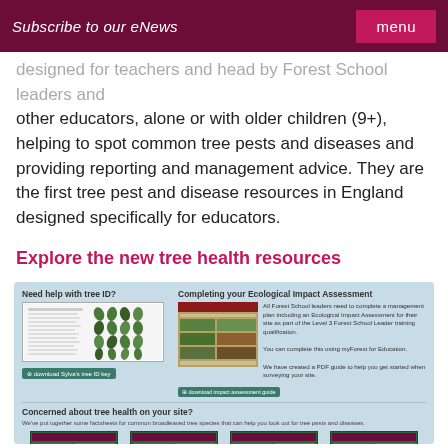Subscribe to our eNews  menu
designed for teachers and head by Forest School leaders and other educators, alone or with older children (9+), helping to spot common tree pests and diseases and providing reporting and management advice. They are the first tree pest and disease resources in England designed specifically for educators.
Explore the new tree health resources
[Figure (screenshot): Interactive resource box with two columns: left column 'Need help with tree ID?' with tree ID key thumbnail and download button; right column 'Completing your Ecological Impact Assessment' with eco guide thumbnail and text about Forest School management plan. Below: 'Concerned about tree health on your site?' section with four green factsheet thumbnails for Ash, Oak, Horse Chestnut, and Sweet Chestnut with download buttons.]